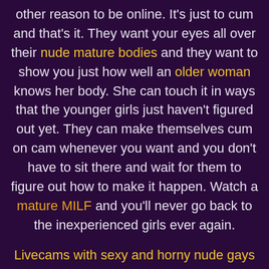other reason to be online. It's just to cum and that's it. They want your eyes all over their nude mature bodies and they want to show you just how well an older woman knows her body. She can touch it in ways that the younger girls just haven't figured out yet. They can make themselves cum on cam whenever you want and you don't have to sit there and wait for them to figure out how to make it happen. Watch a mature MILF and you'll never go back to the inexperienced girls ever again.
Livecams with sexy and horny nude gays - These nude tgirls show you their secrets live on cam - Milfs-Livesex lets you play with horny MILFs who want to show off to you and make you cum to them - Teens showing everything in their naughty live shows - Find erotic webcams that bring